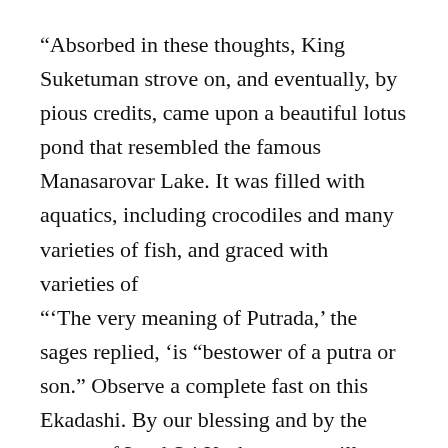“Absorbed in these thoughts, King Suketuman strove on, and eventually, by pious credits, came upon a beautiful lotus pond that resembled the famous Manasarovar Lake. It was filled with aquatics, including crocodiles and many varieties of fish, and graced with varieties of
“‘The very meaning of Putrada,’ the sages replied, ‘is “bestower of a putra or son.” Observe a complete fast on this Ekadashi. By our blessing and by the mercy of Lord Sri Keshava you will surely obtain a son.’
“Anyone who even reads or hears the glories of Putrada Ekadashi will obtain the merit earned by performing a horse sacrifice. I have thus